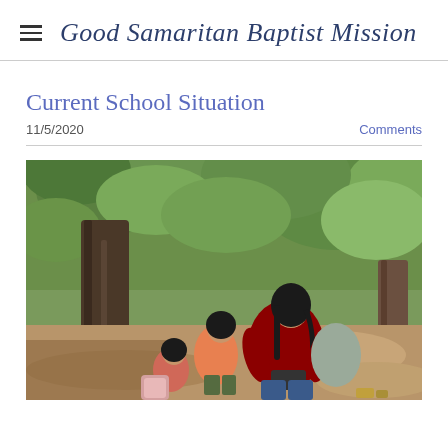Good Samaritan Baptist Mission
Current School Situation
11/5/2020
Comments
[Figure (photo): Children and a woman sitting outdoors near a large tree trunk, reading or using a phone, with dense green trees/forest in the background. The ground appears to be dirt/bare soil.]